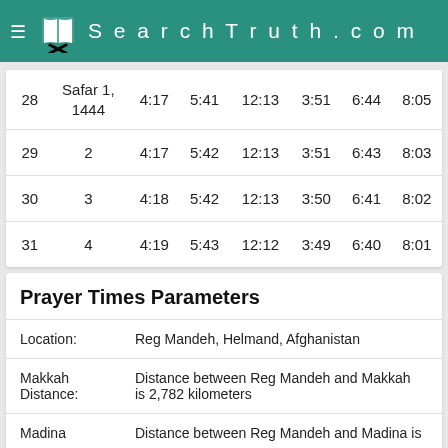≡  SearchTruth.com
| Day | Islamic Date | Col3 | Col4 | Col5 | Col6 | Col7 | Col8 |
| --- | --- | --- | --- | --- | --- | --- | --- |
| 28 | Safar 1, 1444 | 4:17 | 5:41 | 12:13 | 3:51 | 6:44 | 8:05 |
| 29 | 2 | 4:17 | 5:42 | 12:13 | 3:51 | 6:43 | 8:03 |
| 30 | 3 | 4:18 | 5:42 | 12:13 | 3:50 | 6:41 | 8:02 |
| 31 | 4 | 4:19 | 5:43 | 12:12 | 3:49 | 6:40 | 8:01 |
Prayer Times Parameters
Location: Reg Mandeh, Helmand, Afghanistan
Makkah Distance: Distance between Reg Mandeh and Makkah is 2,782 kilometers
Madina  Distance between Reg Mandeh and Madina is